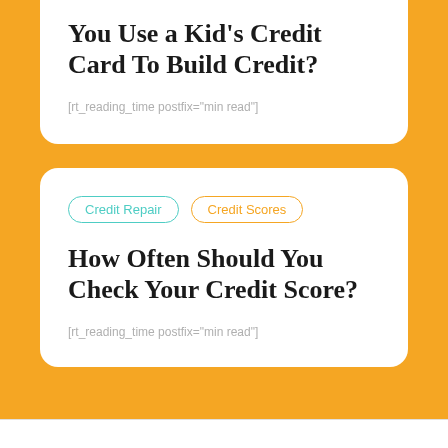You Use a Kid's Credit Card To Build Credit?
[rt_reading_time postfix="min read"]
Credit Repair | Credit Scores
How Often Should You Check Your Credit Score?
[rt_reading_time postfix="min read"]